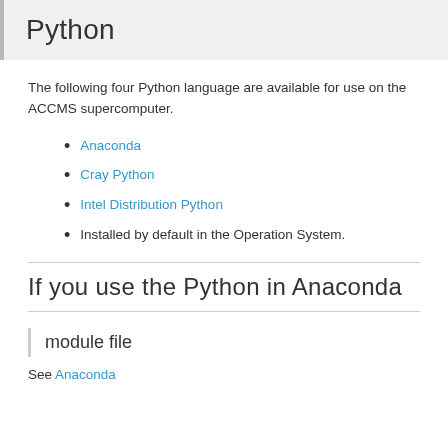Python
The following four Python language are available for use on the ACCMS supercomputer.
Anaconda
Cray Python
Intel Distribution Python
Installed by default in the Operation System.
If you use the Python in Anaconda
module file
See Anaconda